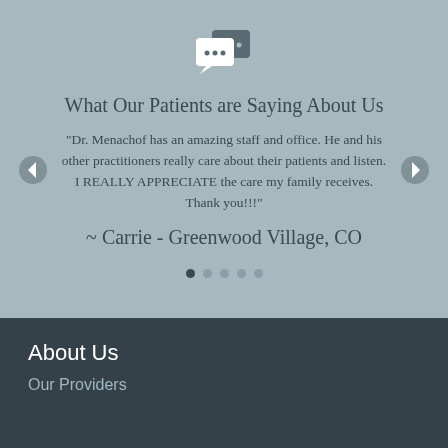[Figure (illustration): Two chat/speech bubble icons overlapping, white colored, on a grayish-blue background]
What Our Patients are Saying About Us
"Dr. Menachof has an amazing staff and office. He and his other practitioners really care about their patients and listen. I REALLY APPRECIATE the care my family receives. Thank you!!!"
~ Carrie - Greenwood Village, CO
About Us
Our Providers